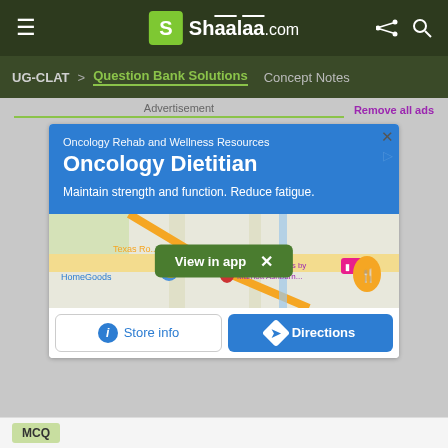Shaalaa.com
UG-CLAT > Question Bank Solutions  Concept Notes
Advertisement  Remove all ads
[Figure (screenshot): An advertisement for Oncology Dietitian services showing a blue banner with text 'Oncology Rehab and Wellness Resources', 'Oncology Dietitian', 'Maintain strength and function. Reduce fatigue.' along with a Google Maps view showing HomeGoods and SpringHill Suites by Marriott Ashburn locations, and buttons for 'View in app', 'Store info', and 'Directions'.]
MCQ